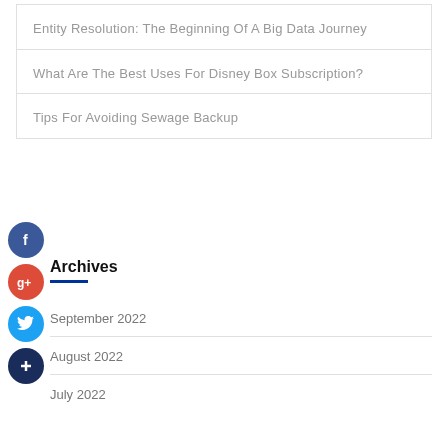Entity Resolution: The Beginning Of A Big Data Journey
What Are The Best Uses For Disney Box Subscription?
Tips For Avoiding Sewage Backup
Archives
September 2022
August 2022
July 2022